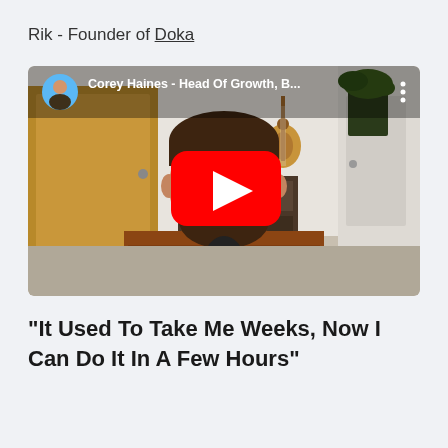Rik - Founder of Doka
[Figure (screenshot): YouTube video thumbnail screenshot showing a man with a beard holding a microphone, with a YouTube play button overlay. The video title bar shows 'Corey Haines - Head Of Growth, B...' with a circular avatar profile picture on the left and a three-dot menu on the right.]
"It Used To Take Me Weeks, Now I Can Do It In A Few Hours"